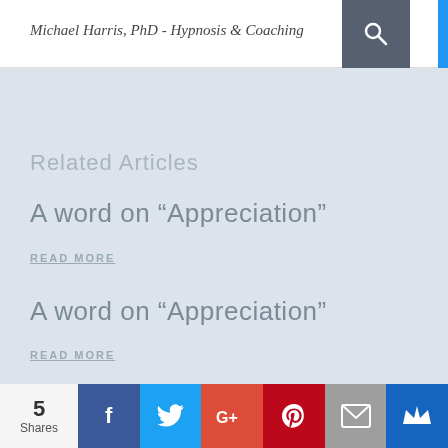Michael Harris, PhD - Hypnosis & Coaching
Related Articles
A word on “Appreciation”
READ MORE
A word on “Appreciation”
READ MORE
5 Shares